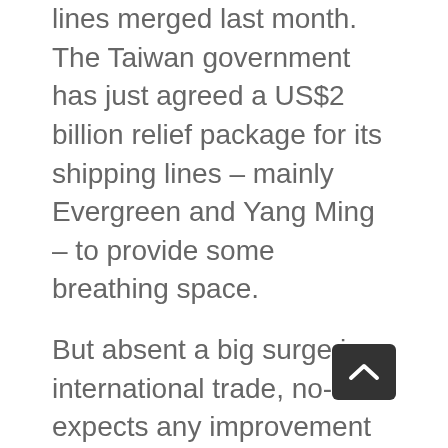lines merged last month. The Taiwan government has just agreed a US$2 billion relief package for its shipping lines – mainly Evergreen and Yang Ming – to provide some breathing space.
But absent a big surge in international trade, no-one expects any improvement any time soon. In fact, life is expected to get significantly worse. As ship orders have fallen this year to a record low of just over 50 (against 260 last year and a peak of 1,157 in 1997), so shipbuilders will between now and the end of 2017 put another 4 ships into the market. Giants like Maersk, with new super-large 19,000 TEU container